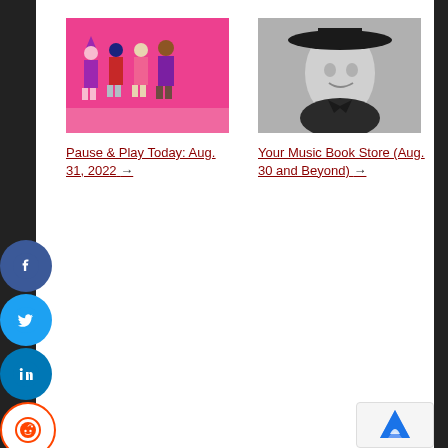[Figure (illustration): Colorful cartoon characters in pink/purple tones, group of 4 people]
Pause & Play Today: Aug. 31, 2022 →
[Figure (photo): Black and white photo of a man wearing a wide-brim hat]
Your Music Book Store (Aug. 30 and Beyond) →